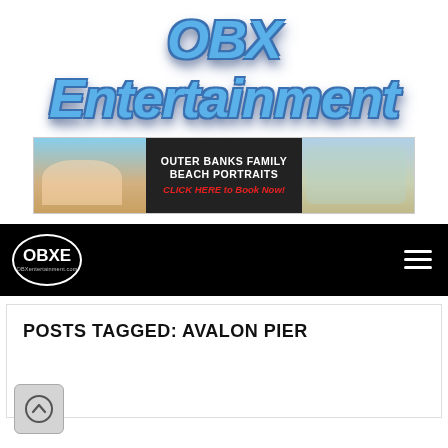[Figure (logo): OBX Entertainment logo in large blue italic 3D-style text]
[Figure (infographic): Outer Banks Family Beach Portraits advertisement banner with beach photos on left and right, black center with white text 'OUTER BANKS FAMILY BEACH PORTRAITS' and red text 'CLICK HERE to Book Now!']
[Figure (logo): Black navigation bar with OBXE oval logo badge and hamburger menu icon]
POSTS TAGGED: AVALON PIER
[Figure (other): Back-to-top circular arrow button in grey rounded square]